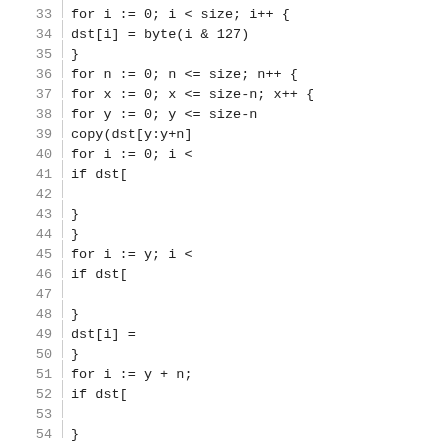33  for i := 0; i < size; i++ {
34      dst[i] = byte(i & 127)
35  }
36  for n := 0; n <= size; n++ {
37      for x := 0; x <= size-n; x++ {
38          for y := 0; y <= size-n
39              copy(dst[y:y+n]
40              for i := 0; i <
41                  if dst[
42
43                  }
44              }
45              for i := y; i <
46                  if dst[
47
48              }
49              dst[i] =
50          }
51          for i := y + n;
52              if dst[
53
54  }